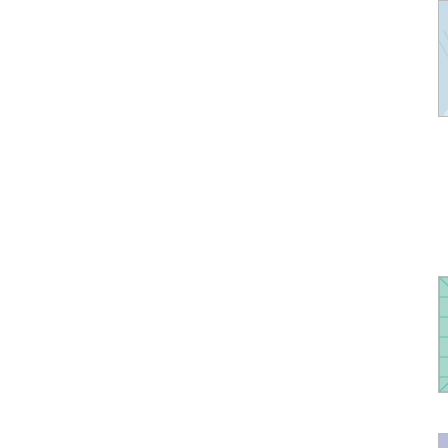[Figure (illustration): Blue and white wave/fan pattern avatar icon]
Your grandparents were not w... People back then were just as... just so happens today we hav... have laws to keep those foren... odds are your grandparents w... diploma form Europe.
These kids are smart and well... their K12 and it was a good i... day they can support you and...
Posted by: Stace | November 05, 2...
[Figure (illustration): Green grid/mesh pattern avatar icon]
Well it looks like you PDS ass... ruin Halloween for this school... allowed in school this year be... Thankfully though you'll be te...
Posted by: PDShater | November 0...
[Figure (illustration): Blue/purple snowflake/star pattern avatar icon]
What are you talking about? T... gave us The Senatorial Witch... Face! Don't forget John L Fra... Vampire, Eddie Munster Scort...
Posted by: What are you talking ab... at 04:35 PM